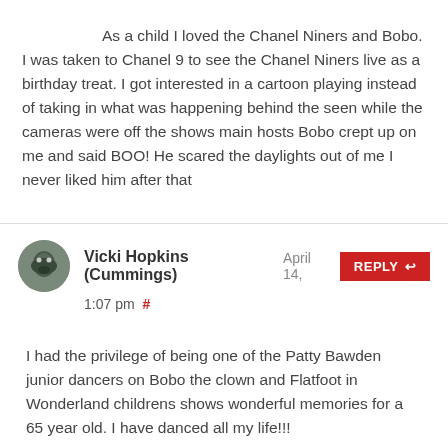As a child I loved the Chanel Niners and Bobo. I was taken to Chanel 9 to see the Chanel Niners live as a birthday treat. I got interested in a cartoon playing instead of taking in what was happening behind the seen while the cameras were off the shows main hosts Bobo crept up on me and said BOO! He scared the daylights out of me I never liked him after that
Vicki Hopkins (Cummings) April 14, 1:07 pm #
I had the privilege of being one of the Patty Bawden junior dancers on Bobo the clown and Flatfoot in Wonderland childrens shows wonderful memories for a 65 year old. I have danced all my life!!!